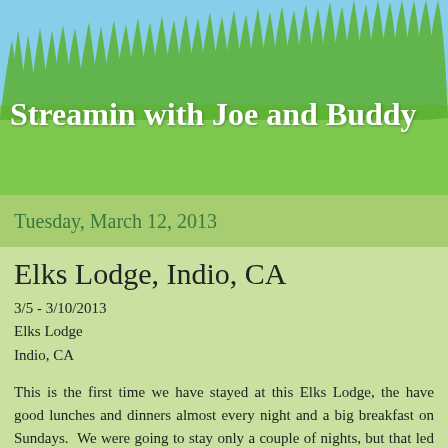Streamin with Joe and Buddy
Tuesday, March 12, 2013
Elks Lodge, Indio, CA
3/5 - 3/10/2013
Elks Lodge
Indio, CA
This is the first time we have stayed at this Elks Lodge, the have good lunches and dinners almost every night and a big breakfast on Sundays.  We were going to stay only a couple of nights, but that led to a couple of more and before we realized it we were here five nights.  We have several friends from British Columbia, Alberta and Oregon that are in various RV parks around here.  It's really been fun visiting and catching up with all of them.  Another friend over in Hemet which is only 45 miles away so we took a